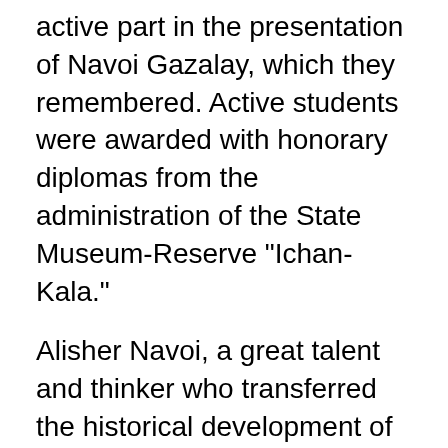active part in the presentation of Navoi Gazalay, which they remembered. Active students were awarded with honorary diplomas from the administration of the State Museum-Reserve "Ichan-Kala."
Alisher Navoi, a great talent and thinker who transferred the historical development of Uzbek classical literature to the 15th century and raised it to a higher position, took a worthy place among the leading literary figures of the world.
Alisher Navoi began his career as a poet in literature and built a poetic palace in literature, became the sultan of Gazal's property, later